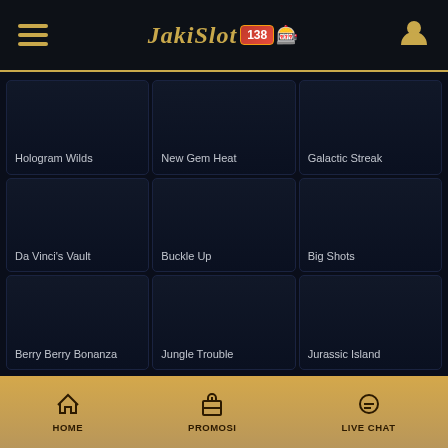JakiSlot 138 - mobile app header with hamburger menu and user icon
[Figure (screenshot): Mobile casino app screenshot showing game grid with slots: Hologram Wilds, New Gem Heat, Galactic Streak, Da Vinci's Vault, Buckle Up, Big Shots, Berry Berry Bonanza, Jungle Trouble, Jurassic Island]
HOME | PROMOSI | LIVE CHAT